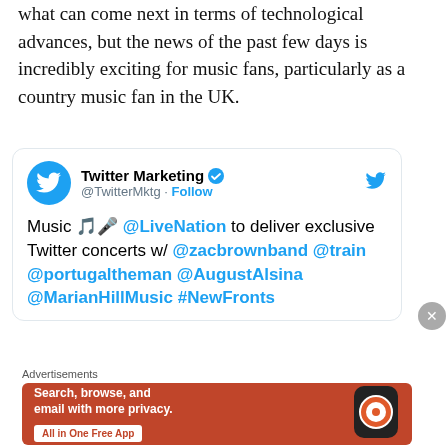what can come next in terms of technological advances, but the news of the past few days is incredibly exciting for music fans, particularly as a country music fan in the UK.
[Figure (screenshot): Embedded tweet from Twitter Marketing (@TwitterMktg) with a Follow button. Tweet text: Music 🎤 @LiveNation to deliver exclusive Twitter concerts w/ @zacbrownband @train @portugaltheman @AugustAlsina @MarianHillMusic #NewFronts]
Advertisements
[Figure (screenshot): DuckDuckGo advertisement banner with orange background. Text: Search, browse, and email with more privacy. All in One Free App. Shows a phone with DuckDuckGo logo.]